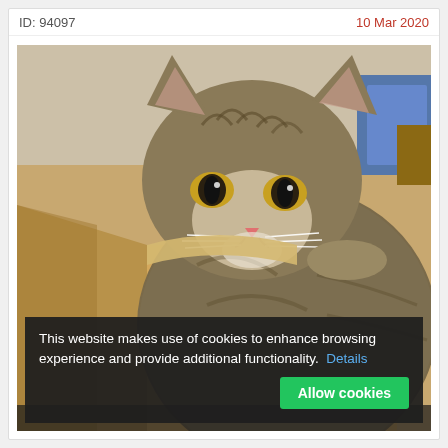ID: 94097
10 Mar 2020
[Figure (photo): A tabby cat sitting inside a cardboard box, looking directly at the camera. The cat has striped brown/grey fur and large eyes. The background shows a beige/cardboard interior of the box.]
This website makes use of cookies to enhance browsing experience and provide additional functionality.  Details
Allow cookies